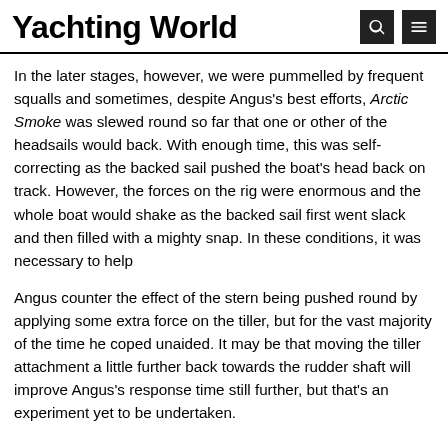Yachting World
In the later stages, however, we were pummelled by frequent squalls and sometimes, despite Angus's best efforts, Arctic Smoke was slewed round so far that one or other of the headsails would back. With enough time, this was self-correcting as the backed sail pushed the boat's head back on track. However, the forces on the rig were enormous and the whole boat would shake as the backed sail first went slack and then filled with a mighty snap. In these conditions, it was necessary to help
Angus counter the effect of the stern being pushed round by applying some extra force on the tiller, but for the vast majority of the time he coped unaided. It may be that moving the tiller attachment a little further back towards the rudder shaft will improve Angus's response time still further, but that's an experiment yet to be undertaken.